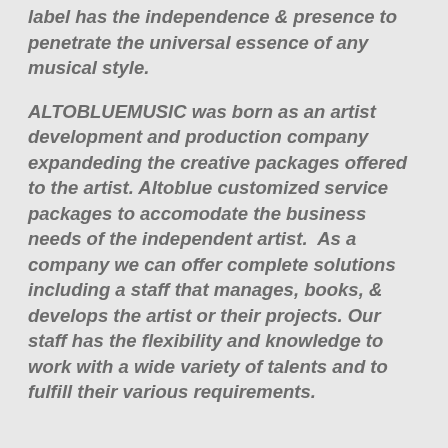label has the independence & presence to penetrate the universal essence of any musical style.
ALTOBLUEMUSIC was born as an artist development and production company expandeding the creative packages offered to the artist. Altoblue customized service packages to accomodate the business needs of the independent artist.  As a company we can offer complete solutions including a staff that manages, books, & develops the artist or their projects. Our staff has the flexibility and knowledge to work with a wide variety of talents and to fulfill their various requirements.